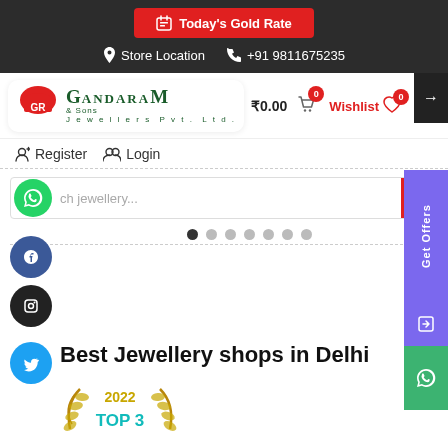Today's Gold Rate | Store Location | +91 9811675235
[Figure (logo): Gandaram & Sons Jewellers Pvt. Ltd. logo with red dome and GR letters]
₹0.00  0  Wishlist  0
Register  Login
ch jewellery...
Best Jewellery shops in Delhi
2022 TOP 3